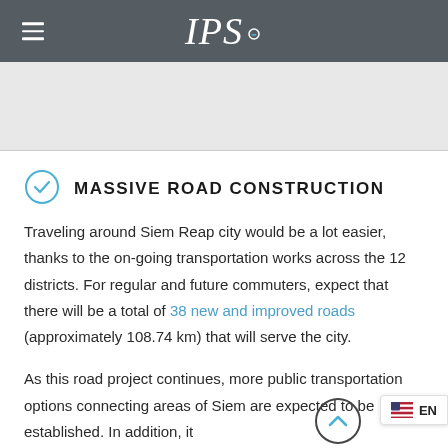IPS
[Figure (photo): Gray placeholder image area for an article photo]
MASSIVE ROAD CONSTRUCTION
Traveling around Siem Reap city would be a lot easier, thanks to the on-going transportation works across the 12 districts. For regular and future commuters, expect that there will be a total of 38 new and improved roads (approximately 108.74 km) that will serve the city.
As this road project continues, more public transportation options connecting areas of Siem are expected to be established. In addition, it